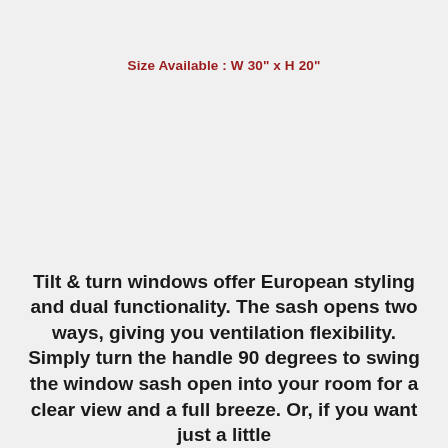Size Available : W 30" x H 20"
Tilt & turn windows offer European styling and dual functionality. The sash opens two ways, giving you ventilation flexibility. Simply turn the handle 90 degrees to swing the window sash open into your room for a clear view and a full breeze. Or, if you want just a little